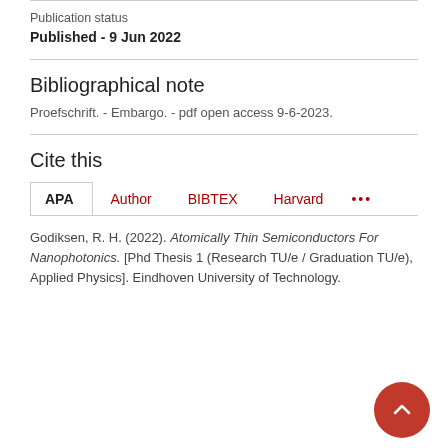Publication status
Published - 9 Jun 2022
Bibliographical note
Proefschrift. - Embargo. - pdf open access 9-6-2023.
Cite this
APA  Author  BIBTEX  Harvard  ...
Godiksen, R. H. (2022). Atomically Thin Semiconductors For Nanophotonics. [Phd Thesis 1 (Research TU/e / Graduation TU/e), Applied Physics]. Eindhoven University of Technology.